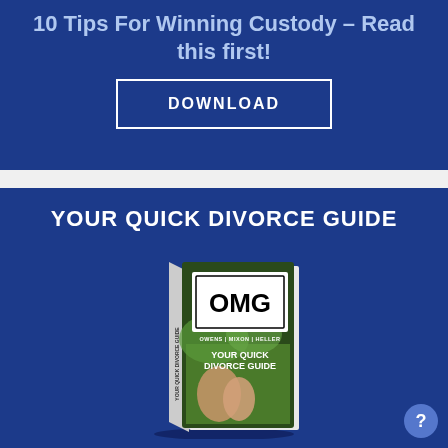10 Tips For Winning Custody – Read this first!
DOWNLOAD
YOUR QUICK DIVORCE GUIDE
[Figure (photo): Book cover for 'Your Quick Divorce Guide' by Owens | Mixon | Heller with OMG logo and image of mother and child.]